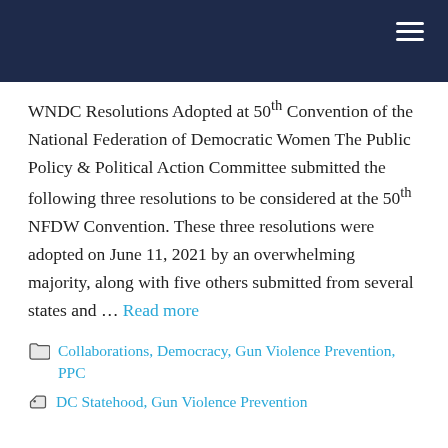WNDC Resolutions Adopted at 50th Convention of the National Federation of Democratic Women The Public Policy & Political Action Committee submitted the following three resolutions to be considered at the 50th NFDW Convention. These three resolutions were adopted on June 11, 2021 by an overwhelming majority, along with five others submitted from several states and … Read more
Collaborations, Democracy, Gun Violence Prevention, PPC
DC Statehood, Gun Violence Prevention